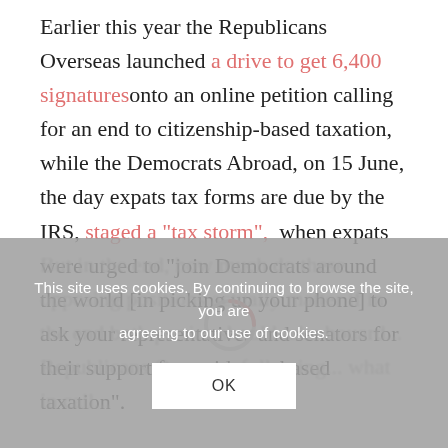Earlier this year the Republicans Overseas launched a drive to get 6,400 signatures onto an online petition calling for an end to citizenship-based taxation, while the Democrats Abroad, on 15 June, the day expats tax forms are due by the IRS, staged a "tax storm",  when expats were urged to "join Democrats around the world [in picking up your phone] to ask your representatives and senators for their support for residency-based taxation".
But in the end, how much do these opposing positions actually matter if in the end both parties should takehouard... Republicans Overseas following... what in call...
[Figure (other): Cookie consent banner overlay with text: 'This site uses cookies. By continuing to browse the site, you are agreeing to our use of cookies.' and an OK button. A loading spinner circle is partially visible in the background.]